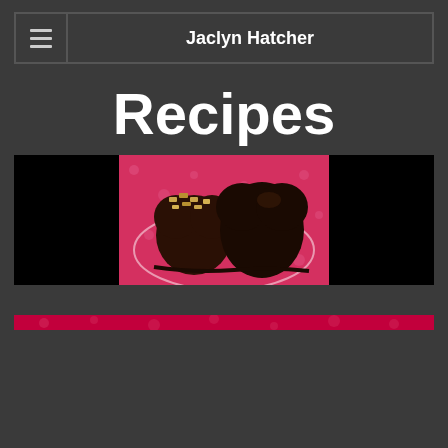Jaclyn Hatcher
Recipes
[Figure (photo): A chocolate-covered heart-shaped dessert with chopped nuts on top, placed on a pink polka-dot surface. The image is centered on a black background banner.]
[Figure (photo): Partial view of another food image with red background at the bottom of the page.]